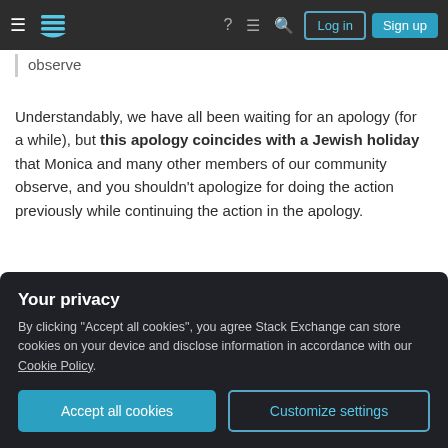Stack Exchange navigation bar with hamburger menu, logo, help, chat, search, Log in and Sign up buttons
observe
Understandably, we have all been waiting for an apology (for a while), but this apology coincides with a Jewish holiday that Monica and many other members of our community observe, and you shouldn't apologize for doing the action previously while continuing the action in the apology.
Why should "Going forward, ... we gather input and feedback" be trusted:
Your privacy
By clicking "Accept all cookies", you agree Stack Exchange can store cookies on your device and disclose information in accordance with our Cookie Policy.
Accept all cookies  Customize settings
that your voices are heard and involved in